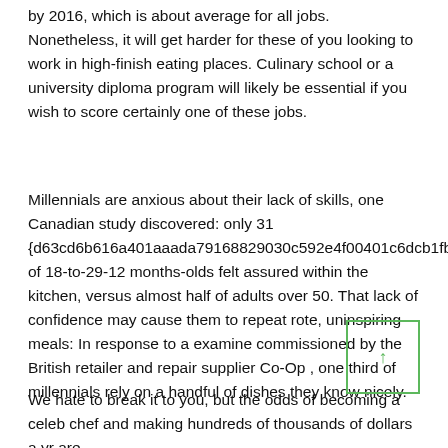by 2016, which is about average for all jobs. Nonetheless, it will get harder for these of you looking to work in high-finish eating places. Culinary school or a university diploma program will likely be essential if you wish to score certainly one of these jobs.
Millennials are anxious about their lack of skills, one Canadian study discovered: only 31 {d63cd6b616a401aaada79168829030c592e4f00401c6dcb1fb9 of 18-to-29-12 months-olds felt assured within the kitchen, versus almost half of adults over 50. That lack of confidence may cause them to repeat rote, uninspiring meals: In response to a examine commissioned by the British retailer and repair supplier Co-Op , one third of millennials rely on a handful of dishes they know nicely.
We hate to break it to you, but the odds of becoming a celeb chef and making hundreds of thousands of dollars a yr are